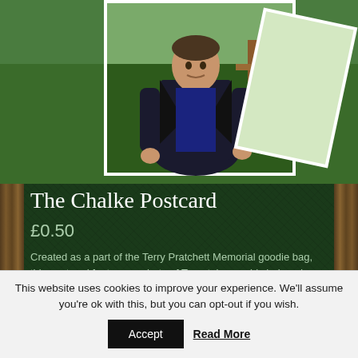[Figure (photo): A man in a black leather jacket leaning on a wooden fence in the countryside. A second postcard-style photo is partially visible behind the main image.]
The Chalke Postcard
£0.50
Created as a part of the Terry Pratchett Memorial goodie bag, this postcard features a photo of Terry taken on his beloved Chalke in the Wiltshire countryside
This website uses cookies to improve your experience. We'll assume you're ok with this, but you can opt-out if you wish.
Accept
Read More